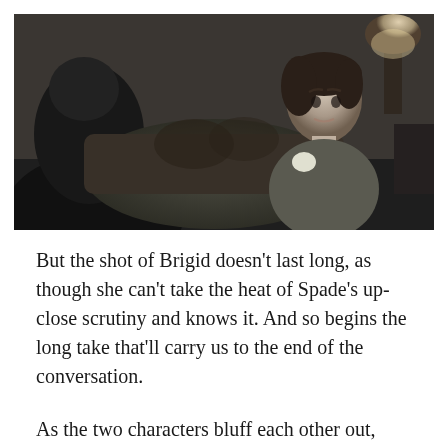[Figure (photo): Black and white film still showing two characters: a man seen from behind on the left, and a woman (Brigid) facing forward on the right, seated near an ornate sofa. The scene appears to be from a classic noir film, dimly lit interior setting with a lamp visible in the background.]
But the shot of Brigid doesn’t last long, as though she can’t take the heat of Spade’s up-close scrutiny and knows it. And so begins the long take that’ll carry us to the end of the conversation.
As the two characters bluff each other out, Spade trying to figure out how much Brigid knows, Brigid trying to betray